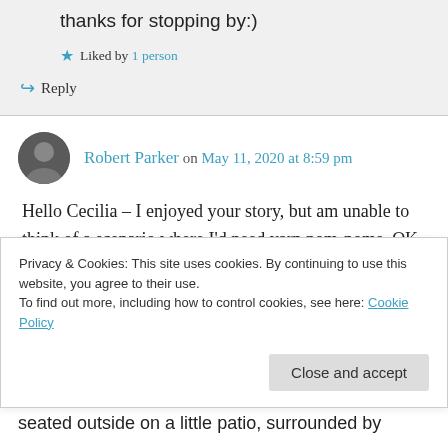thanks for stopping by:)
★ Liked by 1 person
↪ Reply
Robert Parker on May 11, 2020 at 8:59 pm
Hello Cecilia – I enjoyed your story, but am unable to think of a scenario where I'd need yarn pom-poms. OK, not true, a couple of scenarios did pop in my head, but I'm going to do my best
Privacy & Cookies: This site uses cookies. By continuing to use this website, you agree to their use.
To find out more, including how to control cookies, see here: Cookie Policy
Close and accept
seated outside on a little patio, surrounded by